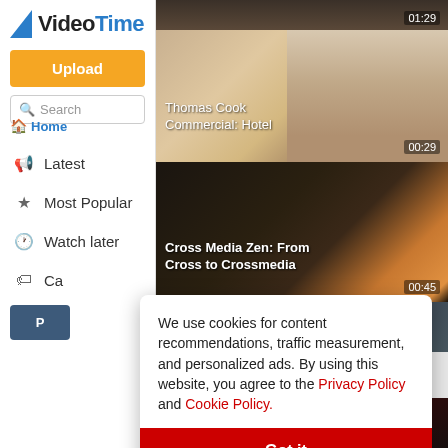[Figure (screenshot): VideoTime logo with blue triangle/play-button icon]
VideoTime
Upload
Search
Home
Latest
Most Popular
Watch later
Ca[tegories]
[Figure (screenshot): Partial video thumbnail at top with timestamp 01:29]
[Figure (photo): Thomas Cook Commercial: Hotel video thumbnail, 00:29]
Thomas Cook Commercial: Hotel
[Figure (photo): Cross Media Zen: From Cross to Crossmedia video thumbnail, 00:45]
Cross Media Zen: From Cross to Crossmedia
[Figure (photo): Partial dark video thumbnail]
We use cookies for content recommendations, traffic measurement, and personalized ads. By using this website, you agree to the Privacy Policy and Cookie Policy.
Got it
[Figure (screenshot): Alivia Foundation Video: partial thumbnail at bottom]